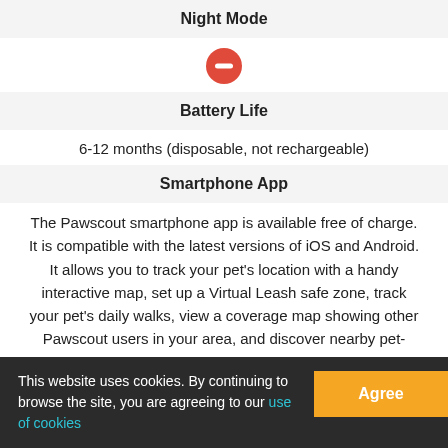Night Mode
[Figure (other): Red circle with minus/dash symbol icon]
Battery Life
6-12 months (disposable, not rechargeable)
Smartphone App
The Pawscout smartphone app is available free of charge. It is compatible with the latest versions of iOS and Android. It allows you to track your pet's location with a handy interactive map, set up a Virtual Leash safe zone, track your pet's daily walks, view a coverage map showing other Pawscout users in your area, and discover nearby pet-friendly locations. It lets you report your pet as lost and
This website uses cookies. By continuing to browse the site, you are agreeing to our use of cookies   Agree